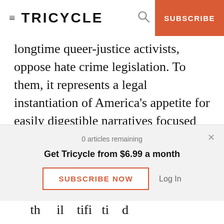TRICYCLE | SUBSCRIBE
longtime queer-justice activists, oppose hate crime legislation. To them, it represents a legal instantiation of America’s appetite for easily digestible narratives focused on person-to-person animus, or “hate frames” (as they call them). In order to reduce violence, oddly enough, we must first destigmatize it.
This argument foists on the authors a compelling
0 articles remaining
Get Tricycle from $6.99 a month
SUBSCRIBE NOW
Log In
a the i th il tifi ti d